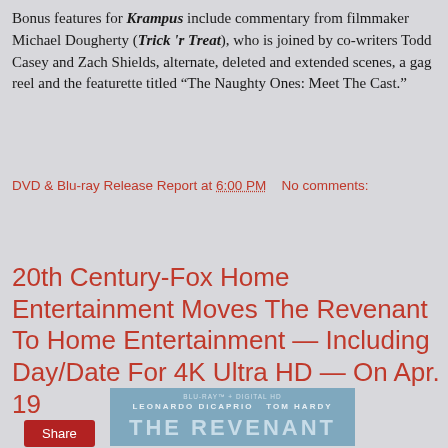Bonus features for Krampus include commentary from filmmaker Michael Dougherty (Trick 'r Treat), who is joined by co-writers Todd Casey and Zach Shields, alternate, deleted and extended scenes, a gag reel and the featurette titled “The Naughty Ones: Meet The Cast.”
DVD & Blu-ray Release Report at 6:00 PM   No comments:
Share
20th Century-Fox Home Entertainment Moves The Revenant To Home Entertainment — Including Day/Date For 4K Ultra HD — On Apr. 19
[Figure (photo): Movie cover image for The Revenant showing blue-toned background with text: LEONARDO DiCAPRIO TOM HARDY and THE REVENANT]